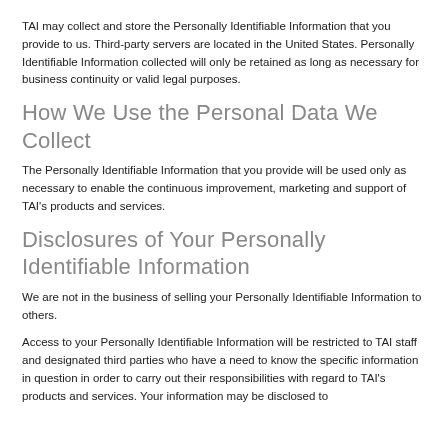TAI may collect and store the Personally Identifiable Information that you provide to us. Third-party servers are located in the United States. Personally Identifiable Information collected will only be retained as long as necessary for business continuity or valid legal purposes.
How We Use the Personal Data We Collect
The Personally Identifiable Information that you provide will be used only as necessary to enable the continuous improvement, marketing and support of TAI's products and services.
Disclosures of Your Personally Identifiable Information
We are not in the business of selling your Personally Identifiable Information to others.
Access to your Personally Identifiable Information will be restricted to TAI staff and designated third parties who have a need to know the specific information in question in order to carry out their responsibilities with regard to TAI's products and services. Your information may be disclosed to